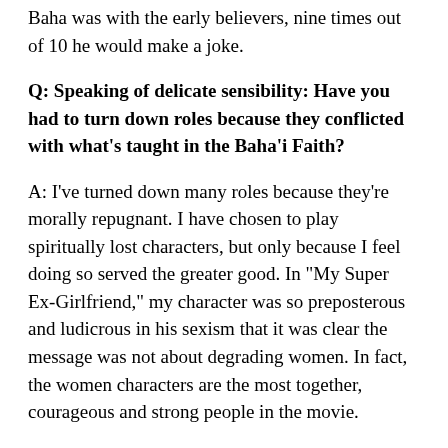Baha was with the early believers, nine times out of 10 he would make a joke.
Q: Speaking of delicate sensibility: Have you had to turn down roles because they conflicted with what's taught in the Baha'i Faith?
A: I've turned down many roles because they're morally repugnant. I have chosen to play spiritually lost characters, but only because I feel doing so served the greater good. In "My Super Ex-Girlfriend," my character was so preposterous and ludicrous in his sexism that it was clear the message was not about degrading women. In fact, the women characters are the most together, courageous and strong people in the movie.
Q: What is your favorite aspect of the Baha'i